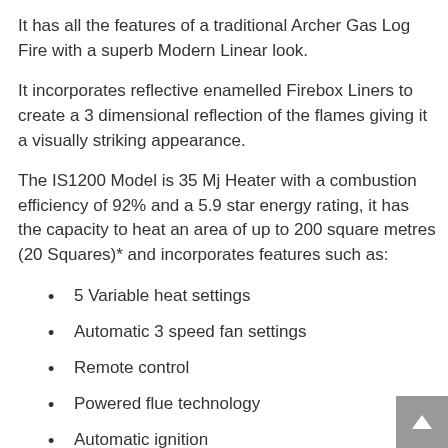It has all the features of a traditional Archer Gas Log Fire with a superb Modern Linear look.
It incorporates reflective enamelled Firebox Liners to create a 3 dimensional reflection of the flames giving it a visually striking appearance.
The IS1200 Model is 35 Mj Heater with a combustion efficiency of 92% and a 5.9 star energy rating, it has the capacity to heat an area of up to 200 square metres (20 Squares)* and incorporates features such as:
5 Variable heat settings
Automatic 3 speed fan settings
Remote control
Powered flue technology
Automatic ignition
Automatic humidifier